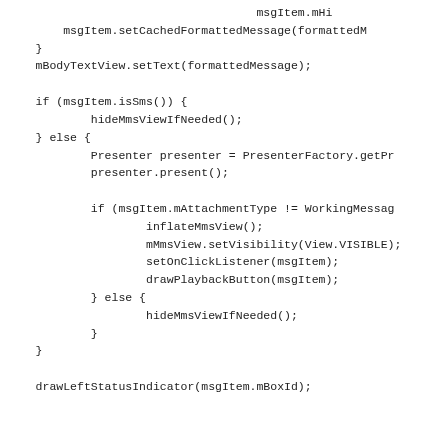Code snippet showing Android message item view binding logic including setCachedFormattedMessage, setText, isSms check, hideMmsViewIfNeeded, PresenterFactory.getPresenter, present, mAttachmentType check, inflateMmsView, setVisibility, setOnClickListener, drawPlaybackButton, and drawLeftStatusIndicator calls.